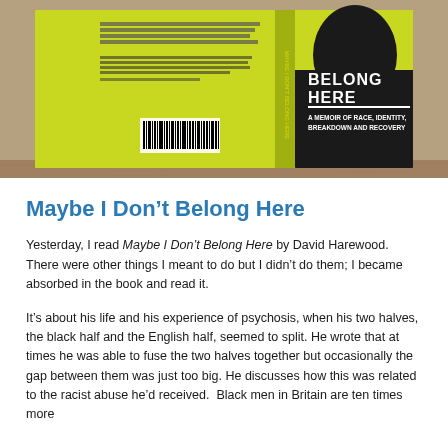[Figure (photo): Photo of the book 'Maybe I Don't Belong Here' by David Harewood, showing the book cover with yellow/green background, dark silhouette of a head, and subtitle 'A Memoir of Race, Identity, Breakdown and Recovery'. The book is lying on a wooden surface showing both the back cover and front cover.]
Maybe I Don't Belong Here
Yesterday, I read Maybe I Don't Belong Here by David Harewood.  There were other things I meant to do but I didn't do them; I became absorbed in the book and read it.
It's about his life and his experience of psychosis, when his two halves, the black half and the English half, seemed to split. He wrote that at times he was able to fuse the two halves together but occasionally the gap between them was just too big. He discusses how this was related to the racist abuse he'd received.  Black men in Britain are ten times more